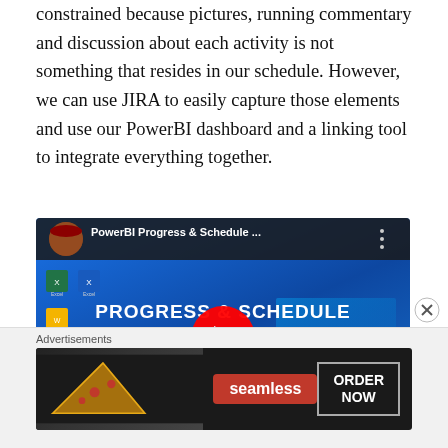constrained because pictures, running commentary and discussion about each activity is not something that resides in our schedule. However, we can use JIRA to easily capture those elements and use our PowerBI dashboard and a linking tool to integrate everything together.
[Figure (screenshot): YouTube video thumbnail showing 'PowerBI Progress & Schedule ...' with title text 'PROGRESS & SCHEDULE DASHBOARD PART 5 AGILE / JIRA INTEGRATION' on a blue background, with a red YouTube play button in the center and a person's profile photo in the top left corner.]
Advertisements
[Figure (photo): Seamless food delivery advertisement banner with pizza image on dark background, Seamless red logo badge, and 'ORDER NOW' button with border.]